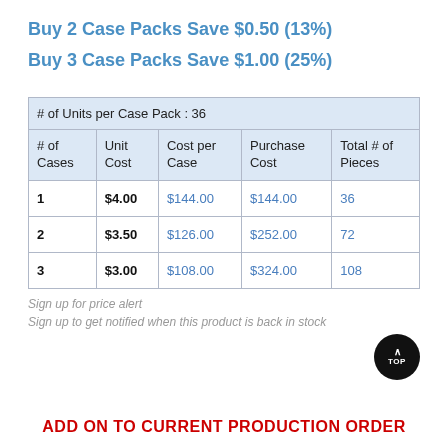Buy 2 Case Packs Save $0.50 (13%)
Buy 3 Case Packs Save $1.00 (25%)
| # of Units per Case Pack : 36 |
| --- |
| # of Cases | Unit Cost | Cost per Case | Purchase Cost | Total # of Pieces |
| 1 | $4.00 | $144.00 | $144.00 | 36 |
| 2 | $3.50 | $126.00 | $252.00 | 72 |
| 3 | $3.00 | $108.00 | $324.00 | 108 |
Sign up for price alert
Sign up to get notified when this product is back in stock
ADD ON TO CURRENT PRODUCTION ORDER